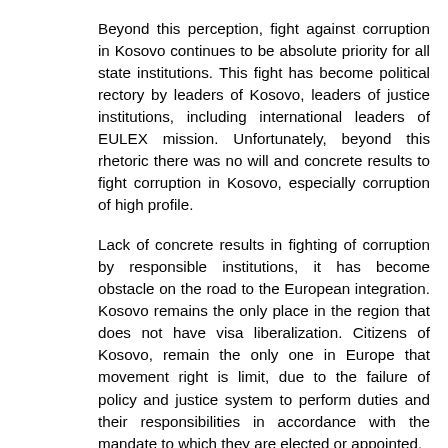Beyond this perception, fight against corruption in Kosovo continues to be absolute priority for all state institutions. This fight has become political rectory by leaders of Kosovo, leaders of justice institutions, including international leaders of EULEX mission. Unfortunately, beyond this rhetoric there was no will and concrete results to fight corruption in Kosovo, especially corruption of high profile.
Lack of concrete results in fighting of corruption by responsible institutions, it has become obstacle on the road to the European integration. Kosovo remains the only place in the region that does not have visa liberalization. Citizens of Kosovo, remain the only one in Europe that movement right is limit, due to the failure of policy and justice system to perform duties and their responsibilities in accordance with the mandate to which they are elected or appointed.